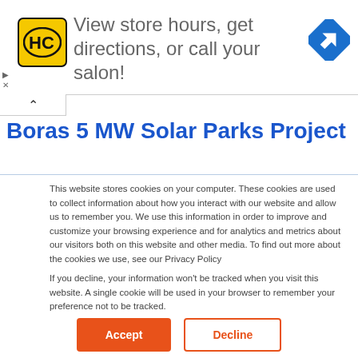[Figure (infographic): Advertisement banner: HC logo (yellow square with black HC text), text 'View store hours, get directions, or call your salon!', and a blue navigation/directions diamond icon on the right.]
Boras 5 MW Solar Parks Project
This website stores cookies on your computer. These cookies are used to collect information about how you interact with our website and allow us to remember you. We use this information in order to improve and customize your browsing experience and for analytics and metrics about our visitors both on this website and other media. To find out more about the cookies we use, see our Privacy Policy
If you decline, your information won't be tracked when you visit this website. A single cookie will be used in your browser to remember your preference not to be tracked.
Accept  Decline